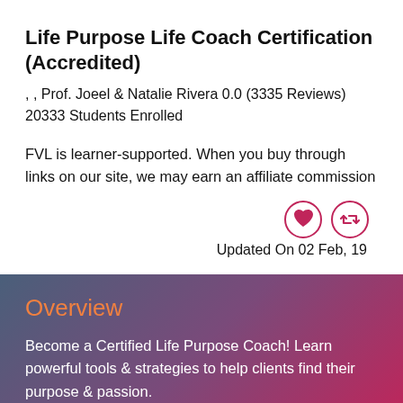Life Purpose Life Coach Certification (Accredited)
, , Prof. Joeel & Natalie Rivera 0.0 (3335 Reviews) 20333 Students Enrolled
FVL is learner-supported. When you buy through links on our site, we may earn an affiliate commission
Updated On 02 Feb, 19
Overview
Become a Certified Life Purpose Coach! Learn powerful tools & strategies to help clients find their purpose & passion.